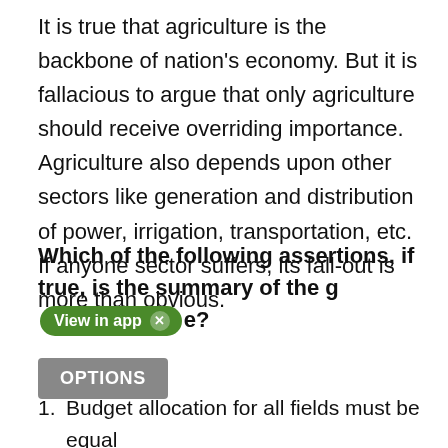It is true that agriculture is the backbone of nation's economy. But it is fallacious to argue that only agriculture should receive overriding importance. Agriculture also depends upon other sectors like generation and distribution of power, irrigation, transportation, etc. If anyone sector suffers, its fall-out is more than obvious.
Which of the following assertions, if true, is the summary of the given passage?
OPTIONS
Budget allocation for all fields must be equal
If adequate budget allocation in any one fiscal year for every sector is not possible, then each